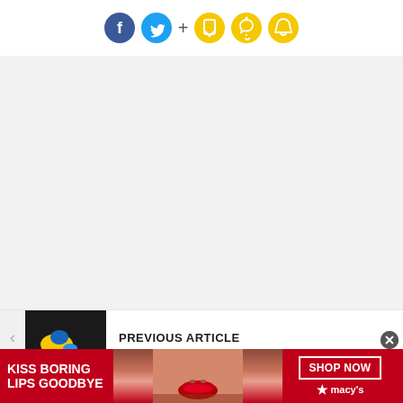[Figure (screenshot): Social media sharing icons: Facebook (blue circle with f), Twitter (cyan circle with bird), plus sign, then yellow outlined icons: bookmark, bell, speech bubble]
[Figure (photo): Gray empty content area placeholder]
[Figure (photo): Previous article thumbnail showing a dark image with colorful toy/figure pieces (yellow, blue)]
PREVIOUS ARTICLE
[Figure (photo): Macy's advertisement banner: red background, white bold text 'KISS BORING LIPS GOODBYE', photo of woman with red lips, 'SHOP NOW' button, Macy's star logo]